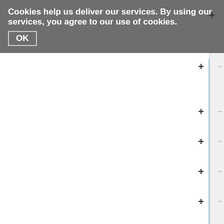Cookies help us deliver our services. By using our services, you agree to our use of cookies. OK
[Figure (screenshot): A web page cookie consent banner overlaying a mostly blank page. On the right side is a scrollbar area with a light blue vertical indicator line and a column of plus (+) signs with tick marks at regular intervals. The main content area below the banner is white/blank.]